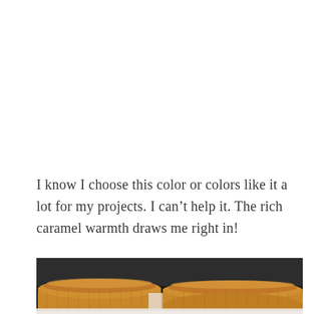I know I choose this color or colors like it a lot for my projects. I can't help it. The rich caramel warmth draws me right in!
[Figure (photo): Photo of two golden caramel-colored knitted/crocheted swatches or mittens lying flat on a white reflective surface, with a dark background.]